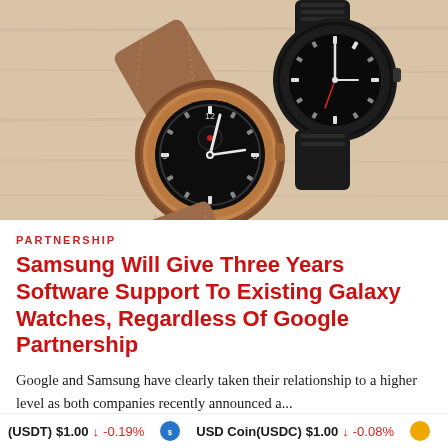[Figure (photo): Two Samsung Galaxy smartwatches on a wooden surface — one with a bronze/rose gold case and brown leather strap in the foreground, one with a dark/black case and black band in the background.]
PARTNERSHIP
Samsung Will Give Three Years Software Support To Existing Galaxy Watches, Regardless Of Google Partnership
Google and Samsung have clearly taken their relationship to a higher level as both companies recently announced a...
Ibhadojemu Lucky Emmanuel
(USDT) $1.00 ↓ -0.19%   USD Coin(USDC) $1.00 ↓ -0.08%